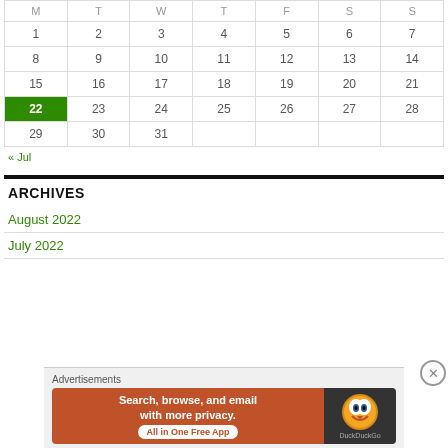| M | T | W | T | F | S | S |
| --- | --- | --- | --- | --- | --- | --- |
| 1 | 2 | 3 | 4 | 5 | 6 | 7 |
| 8 | 9 | 10 | 11 | 12 | 13 | 14 |
| 15 | 16 | 17 | 18 | 19 | 20 | 21 |
| 22 | 23 | 24 | 25 | 26 | 27 | 28 |
| 29 | 30 | 31 |  |  |  |  |
« Jul
ARCHIVES
August 2022
July 2022
[Figure (other): DuckDuckGo advertisement banner: 'Search, browse, and email with more privacy. All in One Free App' with DuckDuckGo logo]